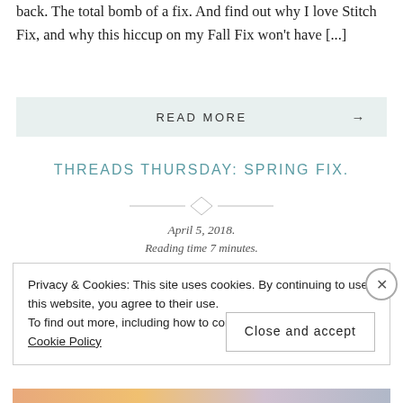back. The total bomb of a fix. And find out why I love Stitch Fix, and why this hiccup on my Fall Fix won't have [...]
READ MORE →
THREADS THURSDAY: SPRING FIX.
April 5, 2018.
Reading time 7 minutes.
Privacy & Cookies: This site uses cookies. By continuing to use this website, you agree to their use.
To find out more, including how to control cookies, see here: Cookie Policy
Close and accept